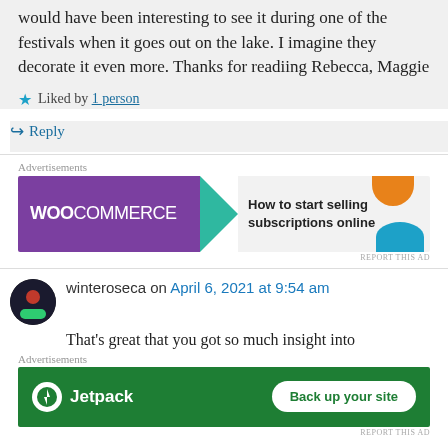would have been interesting to see it during one of the festivals when it goes out on the lake. I imagine they decorate it even more. Thanks for readiing Rebecca, Maggie
Liked by 1 person
Reply
Advertisements
[Figure (other): WooCommerce advertisement banner: How to start selling subscriptions online]
REPORT THIS AD
winteroseca on April 6, 2021 at 9:54 am
That's great that you got so much insight into
Advertisements
[Figure (other): Jetpack advertisement banner: Back up your site]